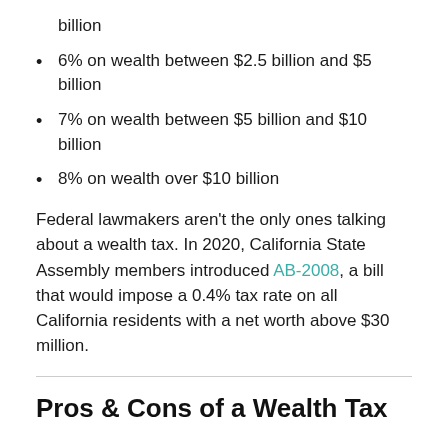billion
6% on wealth between $2.5 billion and $5 billion
7% on wealth between $5 billion and $10 billion
8% on wealth over $10 billion
Federal lawmakers aren't the only ones talking about a wealth tax. In 2020, California State Assembly members introduced AB-2008, a bill that would impose a 0.4% tax rate on all California residents with a net worth above $30 million.
Pros & Cons of a Wealth Tax